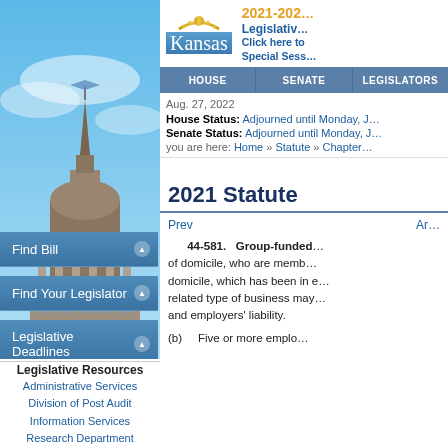[Figure (screenshot): Kansas state capitol building photo with blue sky background]
2021-2022 Legislative Session — Kansas Legislature website header with Kansas logo, navigation bar (House, Senate, Legislators)
Aug. 27, 2022
House Status: Adjourned until Monday, J…
Senate Status: Adjourned until Monday, J…
you are here: Home » Statute » Chapter…
Find Bill
Find Your Legislator
Legislative Deadlines
Current Events
Statute
Legislative Resources
Administrative Services
Division of Post Audit
Information Services
Research Department
2021 Statute
Prev    Ar…
44-581. Group-funded… of domicile, who are membe… domicile, which has been in e… related type of business may … and employers' liability.
(b)    Five or more emplo…